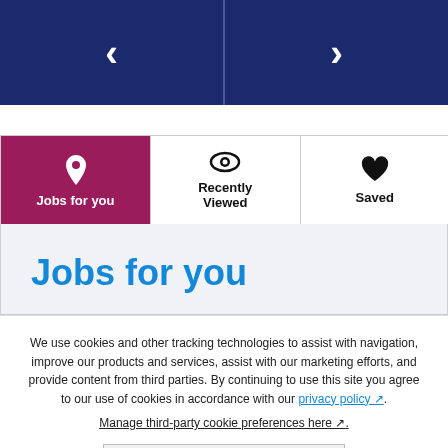[Figure (screenshot): Top navigation bar with dark blue background, left chevron arrow on left half, right chevron arrow on right half, separated by a vertical line]
[Figure (screenshot): Tab navigation with three tabs: 'Jobs for you' (active, pink/maroon background with pin icon), 'Recently Viewed' (with eye icon), 'Saved' (with heart icon)]
Jobs for you
We use cookies and other tracking technologies to assist with navigation, improve our products and services, assist with our marketing efforts, and provide content from third parties. By continuing to use this site you agree to our use of cookies in accordance with our privacy policy. Manage third-party cookie preferences here.
Accept